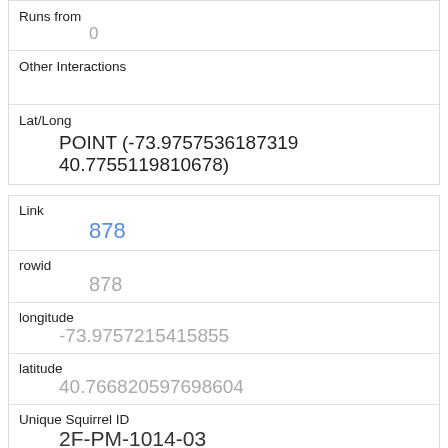| Runs from | 0 |
| Other Interactions |  |
| Lat/Long | POINT (-73.9757536187319 40.7755119810678) |
| Link | 878 |
| rowid | 878 |
| longitude | -73.9757215415855 |
| latitude | 40.766820597698604 |
| Unique Squirrel ID | 2F-PM-1014-03 |
| Hectare | 02F |
| Shift |  |